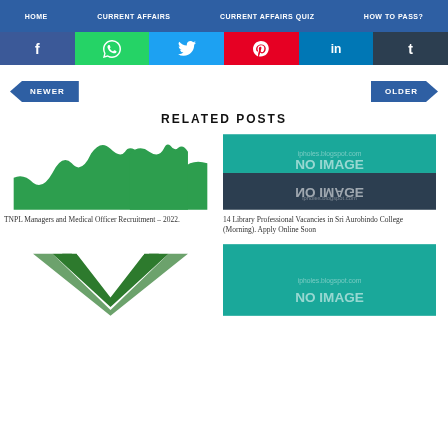HOME | CURRENT AFFAIRS | CURRENT AFFAIRS QUIZ | HOW TO PASS?
[Figure (screenshot): Social sharing buttons: Facebook, WhatsApp, Twitter, Pinterest, LinkedIn, Tumblr]
[Figure (screenshot): Navigation buttons: NEWER (left) and OLDER (right)]
RELATED POSTS
[Figure (photo): Green silhouette map image for TNPL post]
TNPL Managers and Medical Officer Recruitment – 2022.
[Figure (other): No image placeholder (teal and dark gray) for Library Professional Vacancies post]
14 Library Professional Vacancies in Sri Aurobindo College (Morning). Apply Online Soon
[Figure (logo): Green logo with X/V shape on white background]
[Figure (other): No image placeholder (teal) partial view]